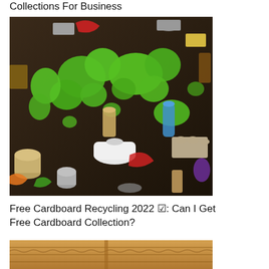Collections For Business
[Figure (photo): Overhead view of recyclable materials (cans, bottles, cardboard tubes, plastic containers) arranged around a world map shape made from green plants/cress on a dark background.]
Free Cardboard Recycling 2022 ✅: Can I Get Free Cardboard Collection?
[Figure (photo): Close-up of corrugated cardboard texture, partially visible at the bottom of the page.]